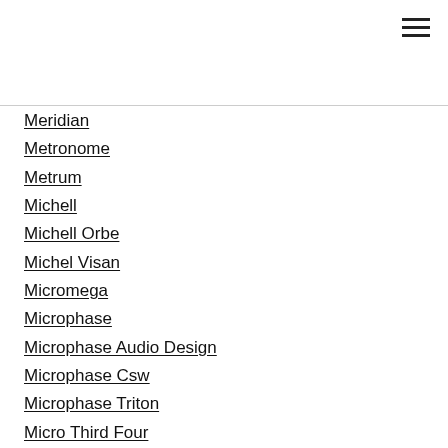Meridian
Metronome
Metrum
Michell
Michell Orbe
Michel Visan
Micromega
Microphase
Microphase Audio Design
Microphase Csw
Microphase Triton
Micro Third Four
Midi
Minute
Mirare
Mitchell Engineering